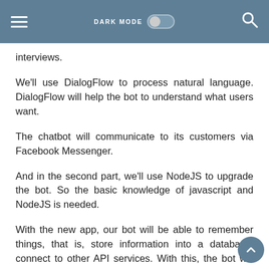DARK MODE [toggle] [search icon]
interviews.
We'll use DialogFlow to process natural language. DialogFlow will help the bot to understand what users want.
The chatbot will communicate to its customers via Facebook Messenger.
And in the second part, we'll use NodeJS to upgrade the bot. So the basic knowledge of javascript and NodeJS is needed.
With the new app, our bot will be able to remember things, that is, store information into a database, connect to other API services. With this, the bot will gain external knowledge and functionality.